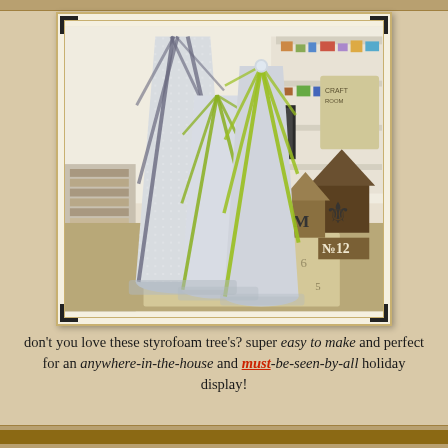[Figure (photo): Three styrofoam cone trees wrapped in ribbon sitting on a decorative surface in a craft room. Two cones are wrapped with green/yellow ribbon and one with dark ribbon, all covered in silver/white sparkle. Decorative wooden house signs visible in background.]
don't you love these styrofoam tree's? super easy to make and perfect for an anywhere-in-the-house and must-be-seen-by-all holiday display!